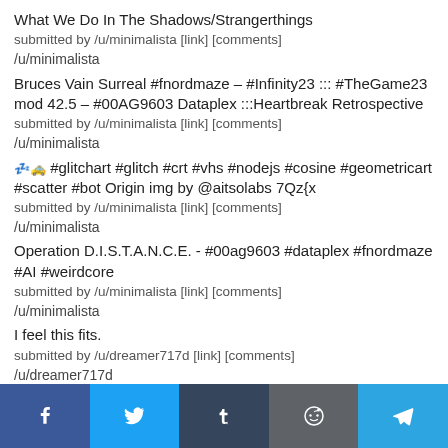What We Do In The Shadows/Strangerthings
submitted by /u/minimalista [link] [comments]
/u/minimalista
Bruces Vain Surreal #fnordmaze – #Infinity23 ::: #TheGame23 mod 42.5 – #00AG9603 Dataplex :::Heartbreak Retrospective
submitted by /u/minimalista [link] [comments]
/u/minimalista
💤🚕 #glitchart #glitch #crt #vhs #nodejs #cosine #geometricart #scatter #bot Origin img by @aitsolabs 7Qz{x
submitted by /u/minimalista [link] [comments]
/u/minimalista
Operation D.I.S.T.A.N.C.E. - #00ag9603 #dataplex #fnordmaze #AI #weirdcore
submitted by /u/minimalista [link] [comments]
/u/minimalista
I feel this fits.
submitted by /u/dreamer717d [link] [comments]
/u/dreamer717d
Bruces Vain Surreal #fnordmaze – #Infinity23 ::: #TheGame23 mod 42.5